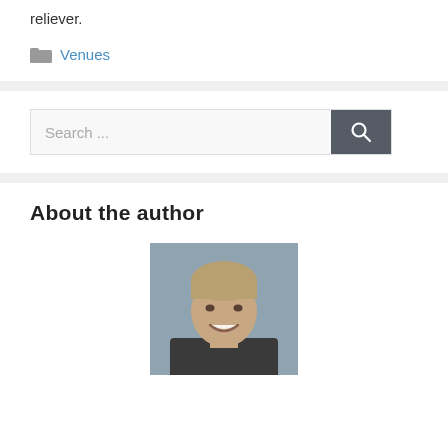reliever.
Venues
[Figure (screenshot): Search bar with placeholder text 'Search ...' and a dark grey search button with a magnifying glass icon]
About the author
[Figure (photo): Headshot photo of a smiling person with short blond hair]